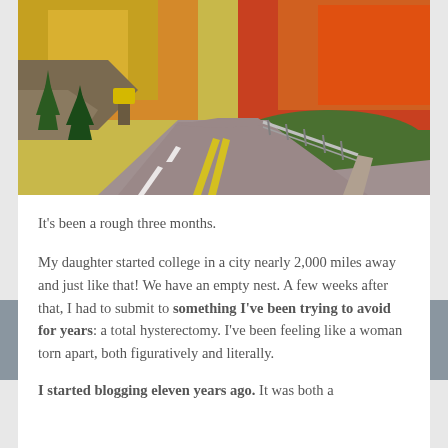[Figure (photo): Autumn scenic road winding through fall foliage. Trees on both sides are yellow, orange, and red. A paved two-lane road with yellow center lines curves into the distance. Rocky hillside on the left, guardrail on the right.]
It's been a rough three months.
My daughter started college in a city nearly 2,000 miles away and just like that! We have an empty nest. A few weeks after that, I had to submit to something I've been trying to avoid for years: a total hysterectomy. I've been feeling like a woman torn apart, both figuratively and literally.
I started blogging eleven years ago. It was both a